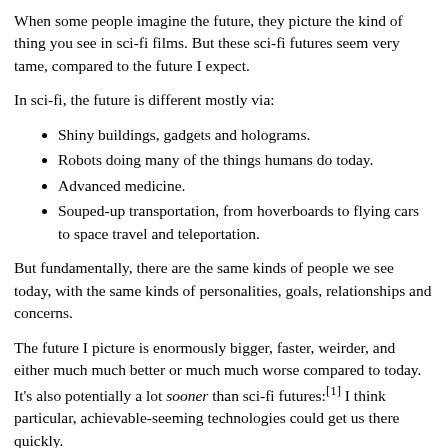When some people imagine the future, they picture the kind of thing you see in sci-fi films. But these sci-fi futures seem very tame, compared to the future I expect.
In sci-fi, the future is different mostly via:
Shiny buildings, gadgets and holograms.
Robots doing many of the things humans do today.
Advanced medicine.
Souped-up transportation, from hoverboards to flying cars to space travel and teleportation.
But fundamentally, there are the same kinds of people we see today, with the same kinds of personalities, goals, relationships and concerns.
The future I picture is enormously bigger, faster, weirder, and either much much better or much much worse compared to today. It's also potentially a lot sooner than sci-fi futures:[1] I think particular, achievable-seeming technologies could get us there quickly.